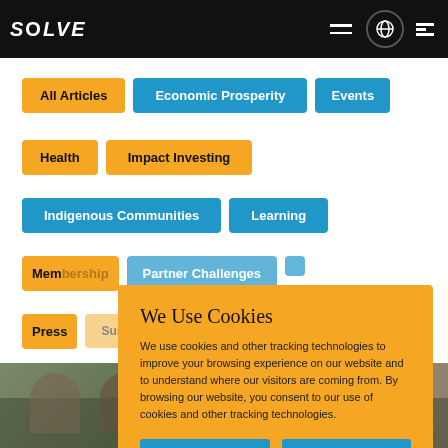SOLVE — MIT
All Articles
Economic Prosperity
Events
Health
Impact Investing
Indigenous Communities
Learning
Membership
Partner Challenges
Press
Sustainability
We Use Cookies
We use cookies and other tracking technologies to improve your browsing experience on our website and to understand where our visitors are coming from. By browsing our website, you consent to our use of cookies and other tracking technologies.
ACCEPT
REJECT
[Figure (photo): Photo of people at a Solve event, partially visible at bottom of page]